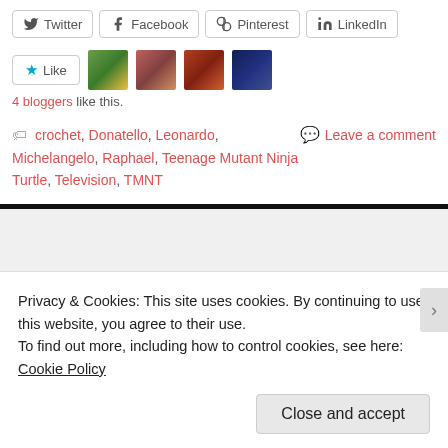[Figure (screenshot): Social share buttons: Twitter, Facebook, Pinterest, LinkedIn]
[Figure (screenshot): Like button with star icon and 4 avatar thumbnails of bloggers]
4 bloggers like this.
crochet, Donatello, Leonardo, Michelangelo, Raphael, Teenage Mutant Ninja Turtle, Television, TMNT
Leave a comment
Privacy & Cookies: This site uses cookies. By continuing to use this website, you agree to their use.
To find out more, including how to control cookies, see here: Cookie Policy
Close and accept